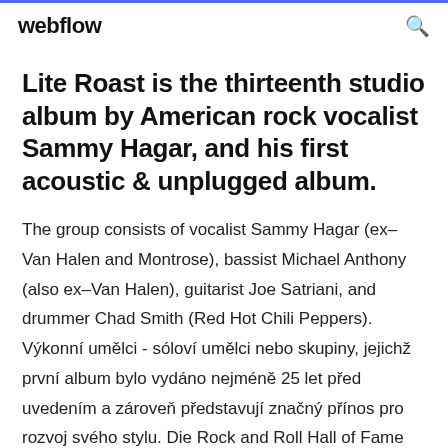webflow
Lite Roast is the thirteenth studio album by American rock vocalist Sammy Hagar, and his first acoustic & unplugged album.
The group consists of vocalist Sammy Hagar (ex–Van Halen and Montrose), bassist Michael Anthony (also ex–Van Halen), guitarist Joe Satriani, and drummer Chad Smith (Red Hot Chili Peppers). Výkonní umělci - sóloví umělci nebo skupiny, jejichž první album bylo vydáno nejméně 25 let před uvedením a zároveň představují značný přínos pro rozvoj svého stylu. Die Rock and Roll Hall of Fame wurde